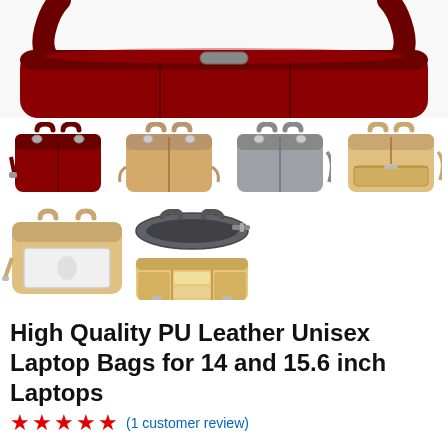[Figure (photo): Product images of PU leather laptop bags in multiple colors (dark red, tan/cream, silver/gray, light tan) and views including top view, open interior view showing laptop compartment, and strap detail. Top hero image shows dark red bag. Second row shows four color variants side by side: dark red, tan, silver/gray, light tan. Third row shows tan bag with laptop inside and two interior/open views of dark gray bag.]
High Quality PU Leather Unisex Laptop Bags for 14 and 15.6 inch Laptops
(1 customer review)